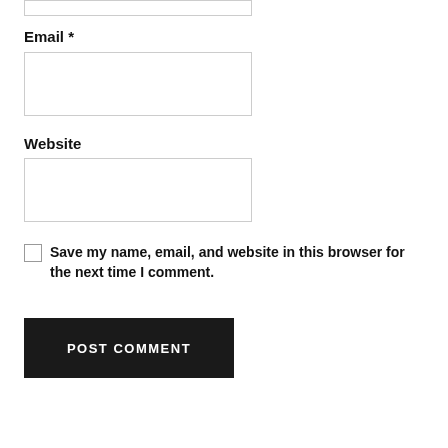Email *
[Figure (other): Empty text input box for Email field]
Website
[Figure (other): Empty text input box for Website field]
Save my name, email, and website in this browser for the next time I comment.
POST COMMENT